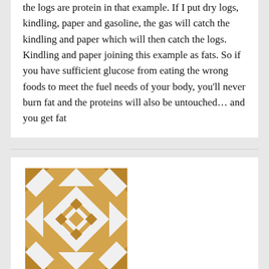the logs are protein in that example. If I put dry logs, kindling, paper and gasoline, the gas will catch the kindling and paper which will then catch the logs. Kindling and paper joining this example as fats. So if you have sufficient glucose from eating the wrong foods to meet the fuel needs of your body, you'll never burn fat and the proteins will also be untouched… and you get fat
[Figure (other): Golden/tan geometric quilt-pattern avatar icon with diamond and star shapes]
Tushatx | February 6, 2022 at 6:45 pm | Reply